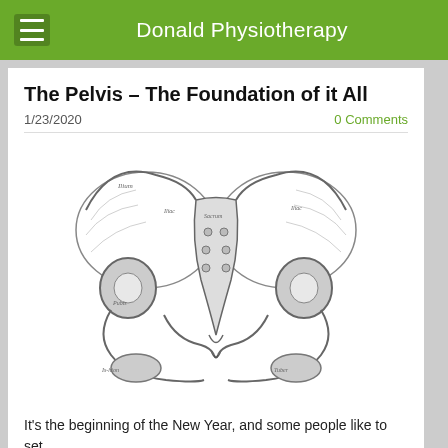Donald Physiotherapy
The Pelvis – The Foundation of it All
1/23/2020
0 Comments
[Figure (illustration): Anatomical pencil sketch illustration of the human pelvis viewed from the front (anterior view), showing the ilium, sacrum, coccyx, pubic bones, and surrounding structures with handwritten anatomical labels.]
It's the beginning of the New Year, and some people like to set